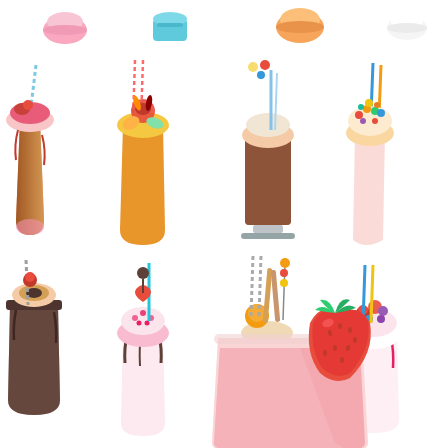[Figure (illustration): A colorful illustration collection of milkshakes, freakshakes, and smoothies. Top row shows 4 small decorative drink toppings/garnishes (pink marshmallow, teal muffin/cup, orange cream puff, white cream). Middle rows show 8 elaborate freakshake drinks in various cups and glasses with colorful toppings, candies, donuts, fruits, whipped cream, and straws. Bottom right shows a large realistic strawberry smoothie in a clear glass with a fresh strawberry garnish.]